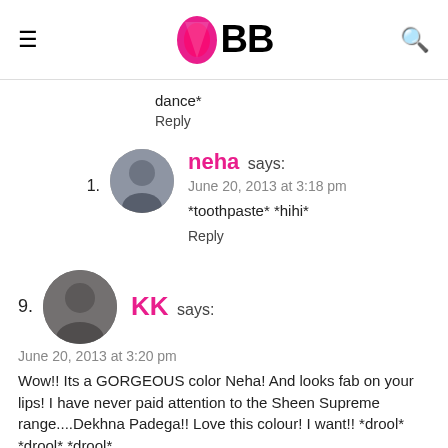IMBB
dance*
Reply
neha says:
June 20, 2013 at 3:18 pm
*toothpaste* *hihi*
Reply
KK says:
June 20, 2013 at 3:20 pm
Wow!! Its a GORGEOUS color Neha! And looks fab on your lips! I have never paid attention to the Sheen Supreme range....Dekhna Padega!! Love this colour! I want!! *drool* *drool* *drool*
Reply